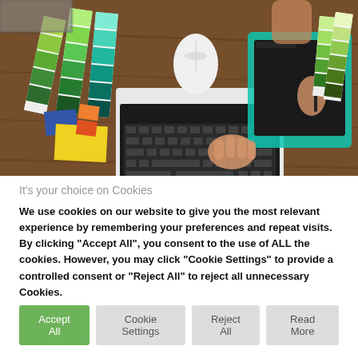[Figure (photo): Overhead view of a designer's workspace with color swatches, a laptop keyboard, a white mouse, and a graphics tablet being used. Hands visible on keyboard and tablet stylus. Wooden desk surface.]
It's your choice on Cookies
We use cookies on our website to give you the most relevant experience by remembering your preferences and repeat visits. By clicking "Accept All", you consent to the use of ALL the cookies. However, you may click "Cookie Settings" to provide a controlled consent or "Reject All" to reject all unnecessary Cookies.